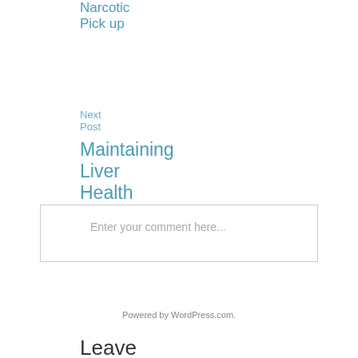Narcotic Pick up
Next Post
Maintaining Liver Health
Leave a Reply
Enter your comment here...
Powered by WordPress.com.